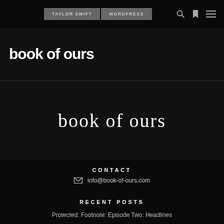TAYLOR SWIFT   WORDPRESS
[Figure (logo): book of ours site header logo in white bold text on dark background]
[Figure (logo): book of ours hero logo in white serif light weight text centered on dark background]
CONTACT
info@book-of-ours.com
RECENT POSTS
Protected: Footnote: Episode Two: Headlines